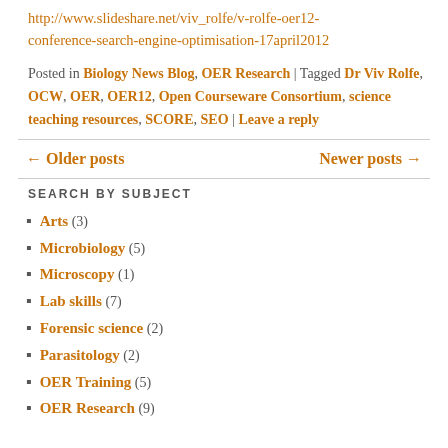http://www.slideshare.net/viv_rolfe/v-rolfe-oer12-conference-search-engine-optimisation-17april2012
Posted in Biology News Blog, OER Research | Tagged Dr Viv Rolfe, OCW, OER, OER12, Open Courseware Consortium, science teaching resources, SCORE, SEO | Leave a reply
← Older posts
Newer posts →
SEARCH BY SUBJECT
Arts (3)
Microbiology (5)
Microscopy (1)
Lab skills (7)
Forensic science (2)
Parasitology (2)
OER Training (5)
OER Research (9)